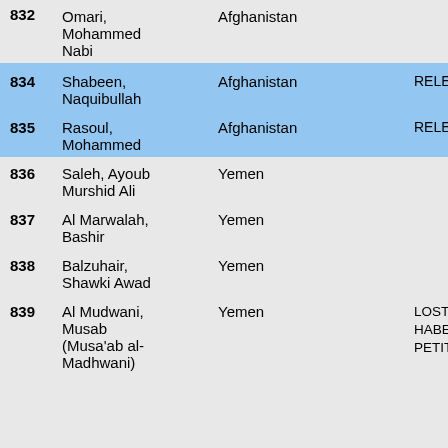| # | Name | Country |  | Status |
| --- | --- | --- | --- | --- |
| 832 | Omari, Mohammed Nabi | Afghanistan |  |  |
| 834 | Shabeen, Naquibullah | Afghanistan |  | RELEASED |
| 835 | Rasoul, Mohammed | Afghanistan |  | RELEASED |
| 836 | Saleh, Ayoub Murshid Ali | Yemen |  |  |
| 837 | Al Marwalah, Bashir | Yemen |  |  |
| 838 | Balzuhair, Shawki Awad | Yemen |  |  |
| 839 | Al Mudwani, Musab (Musa'ab al-Madhwani) | Yemen |  | LOST HABE PETITION |